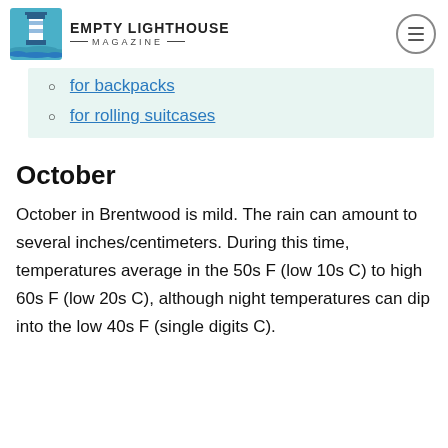EMPTY LIGHTHOUSE MAGAZINE
for backpacks
for rolling suitcases
October
October in Brentwood is mild. The rain can amount to several inches/centimeters. During this time, temperatures average in the 50s F (low 10s C) to high 60s F (low 20s C), although night temperatures can dip into the low 40s F (single digits C).